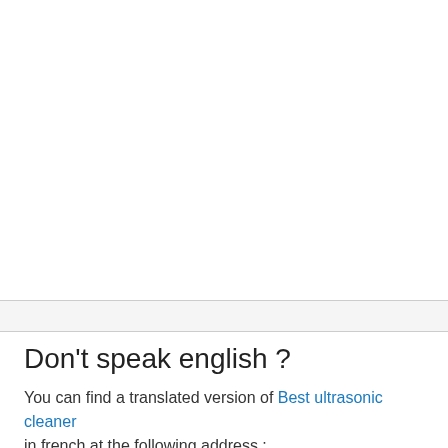Don't speak english ?
You can find a translated version of Best ultrasonic cleaner in french at the following address : nettoyeuraultrason.com